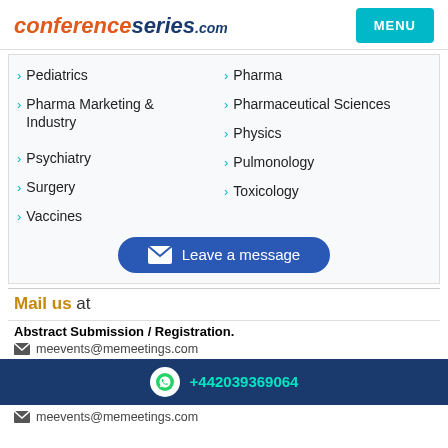conferenceseries.com | MENU
Pediatrics
Pharma
Pharma Marketing & Industry
Pharmaceutical Sciences
Physics
Psychiatry
Pulmonology
Surgery
Toxicology
Vaccines
[Figure (other): Leave a message button]
Mail us at
Abstract Submission / Registration.
meevents@memeetings.com
+442039369064
meevents@memeetings.com